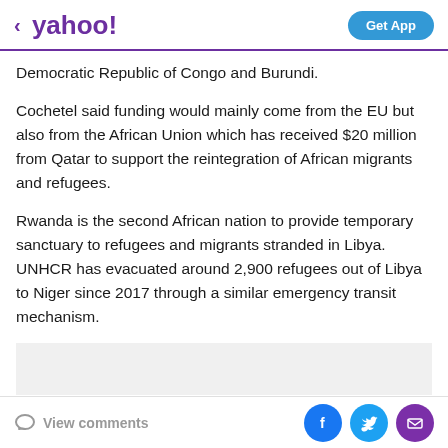< yahoo! | Get App
Democratic Republic of Congo and Burundi.
Cochetel said funding would mainly come from the EU but also from the African Union which has received $20 million from Qatar to support the reintegration of African migrants and refugees.
Rwanda is the second African nation to provide temporary sanctuary to refugees and migrants stranded in Libya. UNHCR has evacuated around 2,900 refugees out of Libya to Niger since 2017 through a similar emergency transit mechanism.
View comments